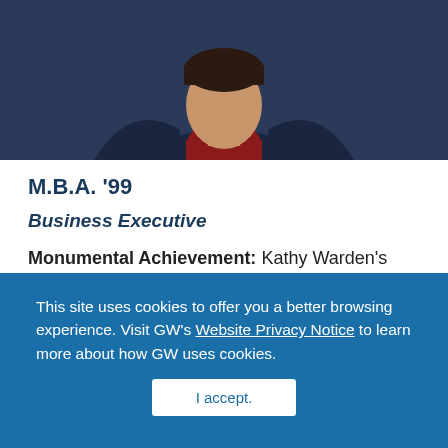[Figure (photo): Portrait photo of a person wearing a dark suit and red turtleneck, cropped from shoulders up, against a dark background]
M.B.A. '99
Business Executive
Monumental Achievement: Kathy Warden's vision and leadership skills are put to use in her work as chairman, chief executive officer and president of Northrop Grumman Corporation, addressing issues in space, aeronautics, defense, and
This site uses cookies to offer you a better browsing experience. Visit GW's Website Privacy Notice to learn more about how GW uses cookies.